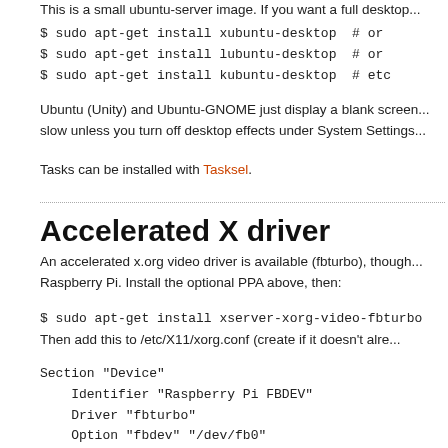This is a small ubuntu-server image. If you want a full desktop...
$ sudo apt-get install xubuntu-desktop  # or
$ sudo apt-get install lubuntu-desktop  # or
$ sudo apt-get install kubuntu-desktop  # etc
Ubuntu (Unity) and Ubuntu-GNOME just display a blank screen... slow unless you turn off desktop effects under System Settings...
Tasks can be installed with Tasksel.
Accelerated X driver
An accelerated x.org video driver is available (fbturbo), though... Raspberry Pi. Install the optional PPA above, then:
$ sudo apt-get install xserver-xorg-video-fbturbo
Then add this to /etc/X11/xorg.conf (create if it doesn't alre...
Section "Device"
    Identifier "Raspberry Pi FBDEV"
    Driver "fbturbo"
    Option "fbdev" "/dev/fb0"
    Option "SwapbuffersWait" "true"